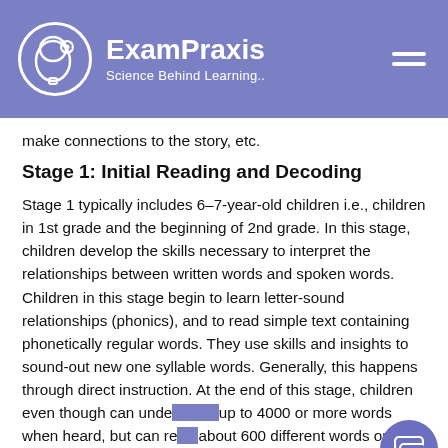ExamPraxis — Science Behind Learning..
make connections to the story, etc.
Stage 1: Initial Reading and Decoding
Stage 1 typically includes 6–7-year-old children i.e., children in 1st grade and the beginning of 2nd grade. In this stage, children develop the skills necessary to interpret the relationships between written words and spoken words. Children in this stage begin to learn letter-sound relationships (phonics), and to read simple text containing phonetically regular words. They use skills and insights to sound-out new one syllable words. Generally, this happens through direct instruction. At the end of this stage, children even though can understand up to 4000 or more words when heard, but can read about 600 different words only. Parents must continue